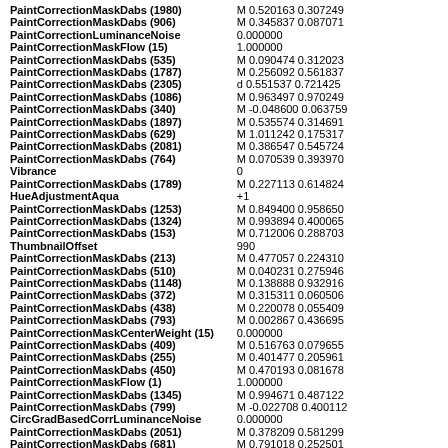| PaintCorrectionMaskDabs (1980) | M 0.520163 0.307249 |
| PaintCorrectionMaskDabs (906) | M 0.345837 0.087071 |
| PaintCorrectionLuminanceNoise | 0.000000 |
| PaintCorrectionMaskFlow (15) | 1.000000 |
| PaintCorrectionMaskDabs (535) | M 0.090474 0.312023 |
| PaintCorrectionMaskDabs (1787) | M 0.256092 0.561837 |
| PaintCorrectionMaskDabs (2305) | d 0.551537 0.721425 |
| PaintCorrectionMaskDabs (1086) | M 0.963497 0.970249 |
| PaintCorrectionMaskDabs (340) | M -0.048600 0.063759 |
| PaintCorrectionMaskDabs (1897) | M 0.535574 0.314691 |
| PaintCorrectionMaskDabs (629) | M 1.011242 0.175317 |
| PaintCorrectionMaskDabs (2081) | M 0.386547 0.545724 |
| PaintCorrectionMaskDabs (764) | M 0.070539 0.393970 |
| Vibrance | 0 |
| PaintCorrectionMaskDabs (1789) | M 0.227113 0.614824 |
| HueAdjustmentAqua | +1 |
| PaintCorrectionMaskDabs (1253) | M 0.849400 0.958650 |
| PaintCorrectionMaskDabs (1324) | M 0.993894 0.400065 |
| PaintCorrectionMaskDabs (153) | M 0.712006 0.288703 |
| ThumbnailOffset | 990 |
| PaintCorrectionMaskDabs (213) | M 0.477057 0.224310 |
| PaintCorrectionMaskDabs (510) | M 0.040231 0.275946 |
| PaintCorrectionMaskDabs (1148) | M 0.138888 0.932916 |
| PaintCorrectionMaskDabs (372) | M 0.315311 0.060506 |
| PaintCorrectionMaskDabs (438) | M 0.220078 0.055409 |
| PaintCorrectionMaskDabs (793) | M 0.002867 0.436695 |
| PaintCorrectionMaskCenterWeight (15) | 0.000000 |
| PaintCorrectionMaskDabs (409) | M 0.516763 0.079655 |
| PaintCorrectionMaskDabs (255) | M 0.401477 0.205961 |
| PaintCorrectionMaskDabs (450) | M 0.470193 0.081678 |
| PaintCorrectionMaskFlow (1) | 1.000000 |
| PaintCorrectionMaskDabs (1345) | M 0.994671 0.487122 |
| PaintCorrectionMaskDabs (799) | M -0.022708 0.400112 |
| CircGradBasedCorrLuminanceNoise | 0.000000 |
| PaintCorrectionMaskDabs (2051) | M 0.378209 0.581299 |
| PaintCorrectionMaskDabs (681) | M 0.791018 0.252501 |
| ToneCurveName | Linear |
| PaintCorrectionMaskDabs (877) | M 0.007887 0.265877 |